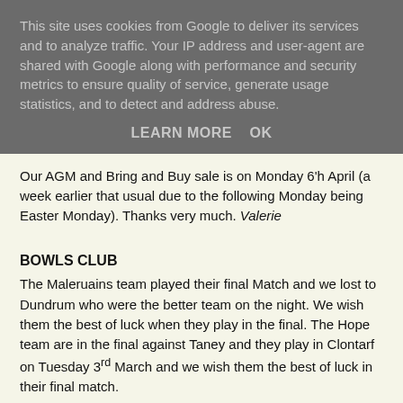This site uses cookies from Google to deliver its services and to analyze traffic. Your IP address and user-agent are shared with Google along with performance and security metrics to ensure quality of service, generate usage statistics, and to detect and address abuse.
LEARN MORE   OK
Our AGM and Bring and Buy sale is on Monday 6'h April (a week earlier that usual due to the following Monday being Easter Monday). Thanks very much. Valerie
BOWLS CLUB
The Maleruains team played their final Match and we lost to Dundrum who were the better team on the night. We wish them the best of luck when they play in the final. The Hope team are in the final against Taney and they play in Clontarf on Tuesday 3rd March and we wish them the best of luck in their final match.